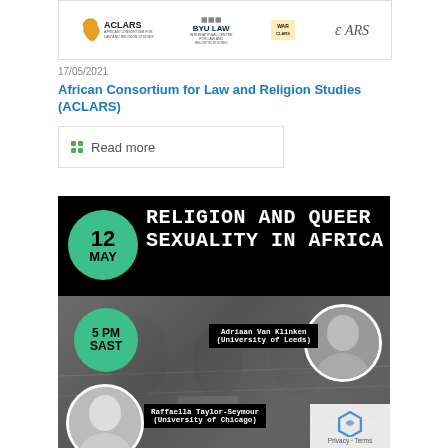[Figure (logo): Banner with logos: ACLARS (African Consortium for Law and Religion Studies), BYU Law International Centre for Law and Religion Studies, WARCLARS, and EARS logos]
17/05/2021
African Consortium for Law and Religion Studies (ACLARS)
Read more
[Figure (illustration): Event poster for 'Religion and Queer Sexuality in Africa' webinar on 12 May at 5 PM SAST. Speakers: Adriaan Van Klinken (University of Leeds) and Raffaella Taylor-Seymour (University of Chicago). Black background with protest imagery and green circle accents.]